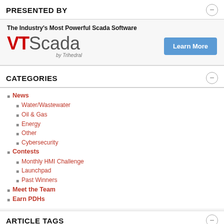PRESENTED BY
[Figure (logo): VTScada logo by Trihedral with tagline 'The Industry's Most Powerful Scada Software' and a 'Learn More' button]
CATEGORIES
News
Water/Wastewater
Oil & Gas
Energy
Other
Cybersecurity
Contests
Monthly HMI Challenge
Launchpad
Past Winners
Meet the Team
Earn PDHs
ARTICLE TAGS